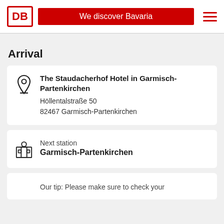DB | We discover Bavaria
Arrival
The Staudacherhof Hotel in Garmisch-Partenkirchen
Höllentalstraße 50
82467 Garmisch-Partenkirchen
Next station
Garmisch-Partenkirchen
Our tip: Please make sure to check your